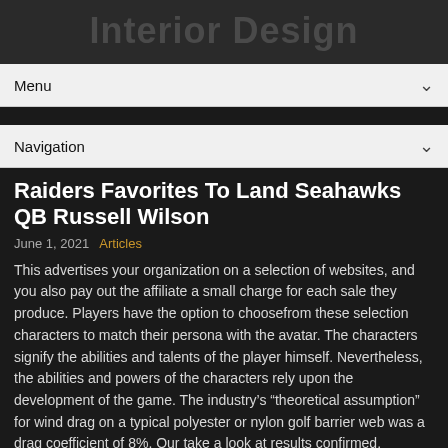Interior Design
Menu
Navigation
Raiders Favorites To Land Seahawks QB Russell Wilson
June 1, 2021  Articles
This advertises your organization on a selection of websites, and you also pay out the affiliate a small charge for each sale they produce. Players have the option to choosefrom these selection characters to match their persona with the avatar. The characters signify the abilities and talents of the player himself. Nevertheless, the abilities and powers of the characters rely upon the development of the game. The industry's “theoretical assumption” for wind drag on a typical polyester or nylon golf barrier web was a drag coefficient of 8%. Our take a look at results confirmed, nonetheless, that the precise wind drag on some of these nets was in the 12 to 16% range… Nevertheless, some online RPGs also